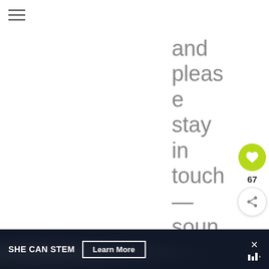[Figure (screenshot): Hamburger menu icon (three horizontal lines) in top-left corner]
and please stay in touch — soun d
[Figure (other): Floating action buttons: green heart button with count 67, and white share button]
SHE CAN STEM  Learn More  ×